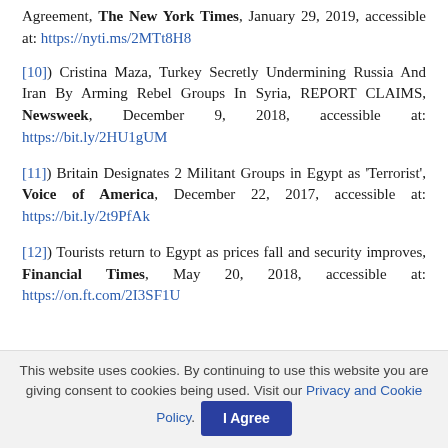Agreement, The New York Times, January 29, 2019, accessible at: https://nyti.ms/2MTt8H8
[10]) Cristina Maza, Turkey Secretly Undermining Russia And Iran By Arming Rebel Groups In Syria, REPORT CLAIMS, Newsweek, December 9, 2018, accessible at: https://bit.ly/2HU1gUM
[11]) Britain Designates 2 Militant Groups in Egypt as 'Terrorist', Voice of America, December 22, 2017, accessible at: https://bit.ly/2t9PfAk
[12]) Tourists return to Egypt as prices fall and security improves, Financial Times, May 20, 2018, accessible at: https://on.ft.com/2I3SF1U
This website uses cookies. By continuing to use this website you are giving consent to cookies being used. Visit our Privacy and Cookie Policy. I Agree